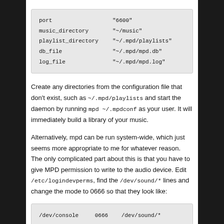| port | "6600" |
| music_directory | "~/music" |
| playlist_directory | "~/.mpd/playlists" |
| db_file | "~/.mpd/mpd.db" |
| log_file | "~/.mpd/mpd.log" |
Create any directories from the configuration file that don't exist, such as ~/.mpd/playlists and start the daemon by running mpd ~/.mpdconf as your user. It will immediately build a library of your music.
Alternatively, mpd can be run system-wide, which just seems more appropriate to me for whatever reason. The only complicated part about this is that you have to give MPD permission to write to the audio device. Edit /etc/logindevperms, find the /dev/sound/* lines and change the mode to 0666 so that they look like:
| /dev/console | 0666 | /dev/sound/* |
| /dev/vt/active | 0666 | /dev/sound/* |